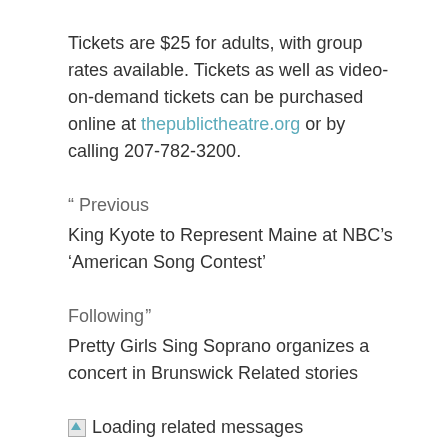Tickets are $25 for adults, with group rates available. Tickets as well as video-on-demand tickets can be purchased online at thepublictheatre.org or by calling 207-782-3200.
" Previous
King Kyote to Represent Maine at NBC’s ‘American Song Contest’
Following "
Pretty Girls Sing Soprano organizes a concert in Brunswick Related stories
[Figure (other): Broken image icon indicating loading related messages]
Loading related messages
Related Posts: